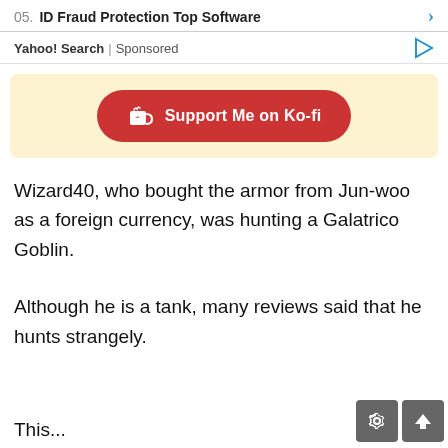05. ID Fraud Protection Top Software
Yahoo! Search | Sponsored
[Figure (other): Ko-fi support button banner with cream background and red rounded button reading 'Support Me on Ko-fi' with a coffee cup icon]
Wizard40, who bought the armor from Jun-woo as a foreign currency, was hunting a Galatrico Goblin.
Although he is a tank, many reviews said that he hunts strangely.
This...